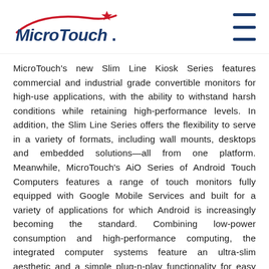MicroTouch logo and navigation
MicroTouch's new Slim Line Kiosk Series features commercial and industrial grade convertible monitors for high-use applications, with the ability to withstand harsh conditions while retaining high-performance levels. In addition, the Slim Line Series offers the flexibility to serve in a variety of formats, including wall mounts, desktops and embedded solutions—all from one platform. Meanwhile, MicroTouch's AiO Series of Android Touch Computers features a range of touch monitors fully equipped with Google Mobile Services and built for a variety of applications for which Android is increasingly becoming the standard. Combining low-power consumption and high-performance computing, the integrated computer systems feature an ultra-slim aesthetic and a simple plug-n-play functionality for easy integration into new or existing applications.